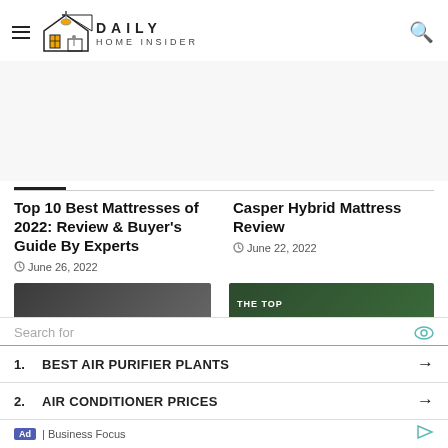Daily Home Insider — navigation header with hamburger menu and search icon
[Figure (other): Advertisement / blank spacer area]
Top 10 Best Mattresses of 2022: Review & Buyer's Guide By Experts — June 26, 2022
Casper Hybrid Mattress Review — June 22, 2022
[Figure (photo): Dark thumbnail image for mattress article]
[Figure (photo): Dark green thumbnail image with text THE TOP]
Search for
1. BEST AIR PURIFIER PLANTS →
2. AIR CONDITIONER PRICES →
Ad | Business Focus